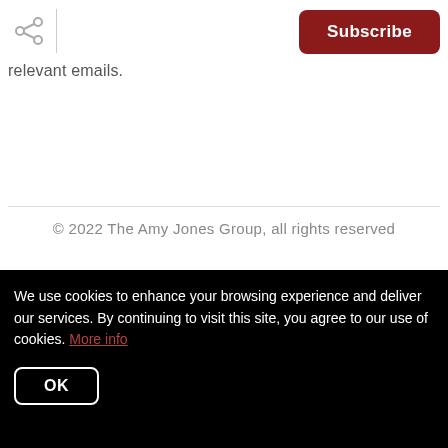Share icon | Subscribe button
relevant emails.
© 2022 The Amy Jones Group, all rights reserved
Privacy Policy
The Amy
We use cookies to enhance your browsing experience and deliver our services. By continuing to visit this site, you agree to our use of cookies. More info
OK